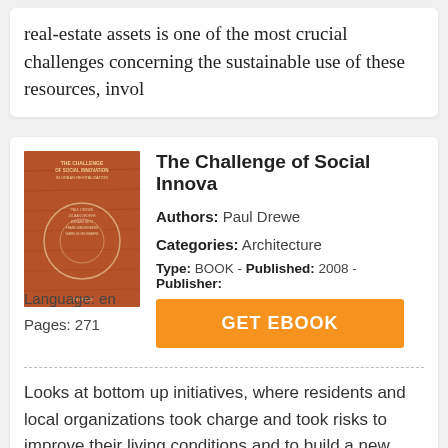real-estate assets is one of the most crucial challenges concerning the sustainable use of these resources, invol
The Challenge of Social Innova
Authors: Paul Drewe
Categories: Architecture
Type: BOOK - Published: 2008 - Publisher:
Language: en
Pages: 271
[Figure (illustration): Book cover of The Challenge of Social Innovation in Urban Revitalization, reddish-brown background with circular diagram]
GET EBOOK
Looks at bottom up initiatives, where residents and local organizations took charge and took risks to improve their living conditions and to build a new future.
Growing Food in Cities
[Figure (illustration): Book cover of Growing Food in Cities, showing aerial view of green urban area]